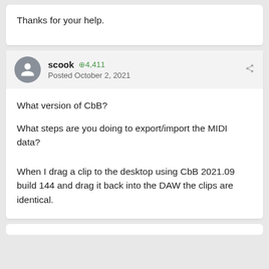Thanks for your help.
scook  +4,411
Posted October 2, 2021
What version of CbB?
What steps are you doing to export/import the MIDI data?
When I drag a clip to the desktop using CbB 2021.09 build 144 and drag it back into the DAW the clips are identical.